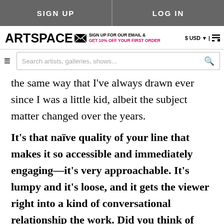SIGN UP | LOG IN
ARTSPACE — SIGN UP FOR OUR EMAIL & GET 10% OFF YOUR FIRST ORDER — $ USD | cart
Search artists, galleries, shows...
the same way that I've always drawn ever since I was a little kid, albeit the subject matter changed over the years.
It's that naïve quality of your line that makes it so accessible and immediately engaging—it's very approachable. It's lumpy and it's loose, and it gets the viewer right into a kind of conversational relationship the work. Did you think of them as cartoons in the beginning?